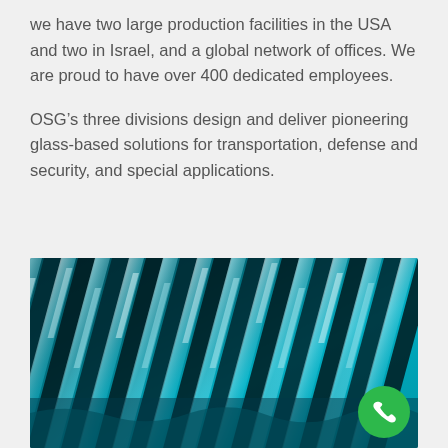we have two large production facilities in the USA and two in Israel, and a global network of offices. We are proud to have over 400 dedicated employees.
OSG’s three divisions design and deliver pioneering glass-based solutions for transportation, defense and security, and special applications.
[Figure (photo): Close-up photograph of stacked glass panels/sheets with a teal/turquoise blue-green color, showing layered glass edges in a diagonal pattern]